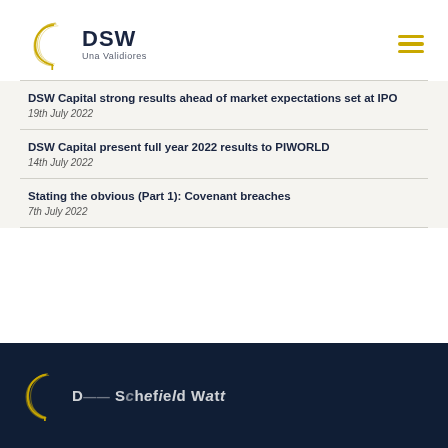[Figure (logo): DSW Una Validiores logo with rope/circle graphic]
DSW Capital strong results ahead of market expectations set at IPO
19th July 2022
DSW Capital present full year 2022 results to PIWORLD
14th July 2022
Stating the obvious (Part 1): Covenant breaches
7th July 2022
[Figure (logo): DSW footer logo partial, dark background, company name partially visible]